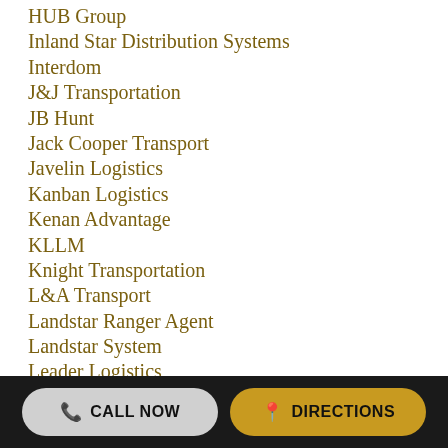HUB Group
Inland Star Distribution Systems
Interdom
J&J Transportation
JB Hunt
Jack Cooper Transport
Javelin Logistics
Kanban Logistics
Kenan Advantage
KLLM
Knight Transportation
L&A Transport
Landstar Ranger Agent
Landstar System
Leader Logistics
LeSaint Logistics
Marten Transport
Maverick Transportation
NFI Industries
CALL NOW   DIRECTIONS